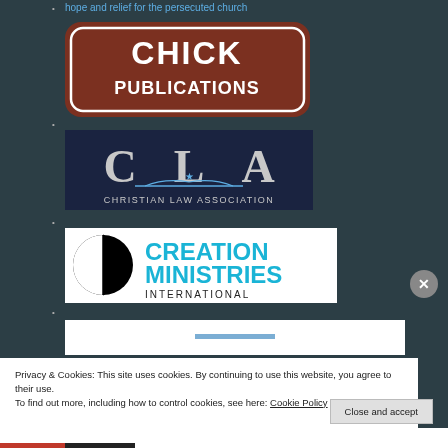hope and relief for the persecuted church
[Figure (logo): Chick Publications logo - brown rounded rectangle with white text reading CHICK PUBLICATIONS]
[Figure (logo): Christian Law Association (CLA) logo - dark blue background with large CLA letters and eagle emblem, subtitle CHRISTIAN LAW ASSOCIATION]
[Figure (logo): Creation Ministries International logo - black semicircle icon beside blue text CREATION MINISTRIES INTERNATIONAL]
[Figure (logo): Partial fourth logo partially visible at bottom]
Privacy & Cookies: This site uses cookies. By continuing to use this website, you agree to their use. To find out more, including how to control cookies, see here: Cookie Policy
Close and accept